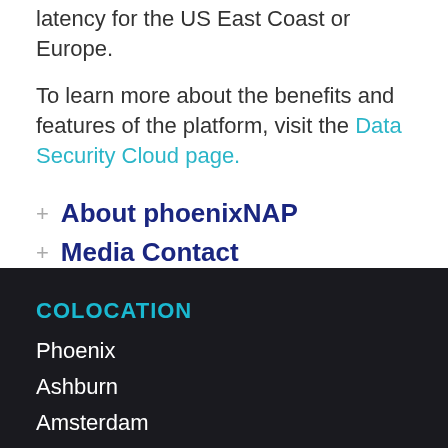latency for the US East Coast or Europe.
To learn more about the benefits and features of the platform, visit the Data Security Cloud page.
About phoenixNAP
Media Contact
COLOCATION
Phoenix
Ashburn
Amsterdam
Atlanta